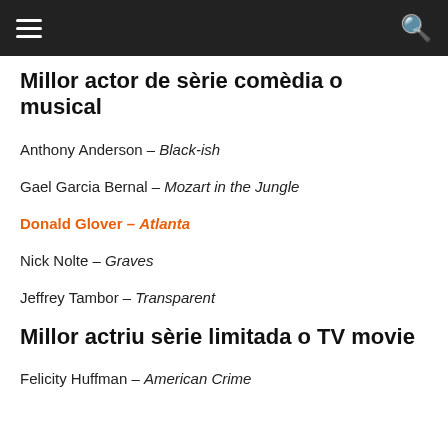Navigation header with menu and search icons
Millor actor de sèrie comèdia o musical
Anthony Anderson – Black-ish
Gael Garcia Bernal – Mozart in the Jungle
Donald Glover – Atlanta [winner]
Nick Nolte – Graves
Jeffrey Tambor – Transparent
Millor actriu sèrie limitada o TV movie
Felicity Huffman – American Crime